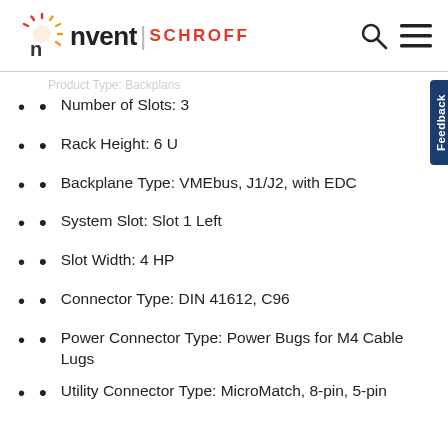nvent SCHROFF
Product Type: Backplans
Number of Slots: 3
Rack Height: 6 U
Backplane Type: VMEbus, J1/J2, with EDC
System Slot: Slot 1 Left
Slot Width: 4 HP
Connector Type: DIN 41612, C96
Power Connector Type: Power Bugs for M4 Cable Lugs
Utility Connector Type: MicroMatch, 8-pin, 5-pin